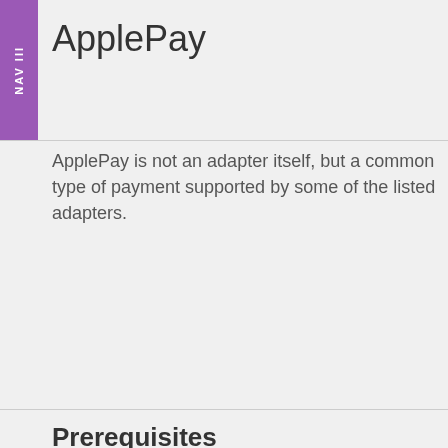ApplePay
ApplePay is not an adapter itself, but a common type of payment supported by some of the listed adapters.
Prerequisites
For processing transactions with ApplePay tokens, the Gateway has to be configured with your Payment Processing certificate first. Please ask your Gateway administrator to do so.
Instruction on how to acquire this certificate can be found directly in the Apple documentation: https://developer.apple.com/documentation/apple_pay_on_the_web